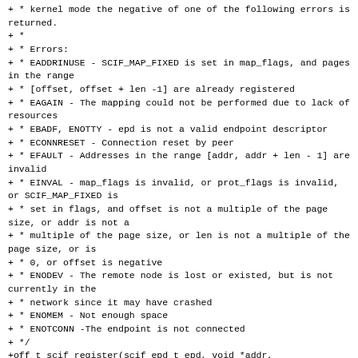+ * kernel mode the negative of one of the following errors is returned.
+ *
+ * Errors:
+ * EADDRINUSE - SCIF_MAP_FIXED is set in map_flags, and pages in the range
+ * [offset, offset + len -1] are already registered
+ * EAGAIN - The mapping could not be performed due to lack of resources
+ * EBADF, ENOTTY - epd is not a valid endpoint descriptor
+ * ECONNRESET - Connection reset by peer
+ * EFAULT - Addresses in the range [addr, addr + len - 1] are invalid
+ * EINVAL - map_flags is invalid, or prot_flags is invalid, or SCIF_MAP_FIXED is
+ * set in flags, and offset is not a multiple of the page size, or addr is not a
+ * multiple of the page size, or len is not a multiple of the page size, or is
+ * 0, or offset is negative
+ * ENODEV - The remote node is lost or existed, but is not currently in the
+ * network since it may have crashed
+ * ENOMEM - Not enough space
+ * ENOTCONN -The endpoint is not connected
+ */
+off_t scif_register(scif_epd_t epd, void *addr,
 size_t len, off_t offset,